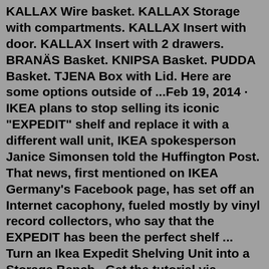KALLAX Wire basket. KALLAX Storage with compartments. KALLAX Insert with door. KALLAX Insert with 2 drawers. BRANÄS Basket. KNIPSA Basket. PUDDA Basket. TJENA Box with Lid. Here are some options outside of ...Feb 19, 2014 · IKEA plans to stop selling its iconic "EXPEDIT" shelf and replace it with a different wall unit, IKEA spokesperson Janice Simonsen told the Huffington Post. That news, first mentioned on IKEA Germany's Facebook page, has set off an Internet cacophony, fueled mostly by vinyl record collectors, who say that the EXPEDIT has been the perfect shelf ... Turn an Ikea Expedit Shelving Unit into a Storage Bench . Get the tutorial via mommyvignettes. Laundry Folding Area. This clean white Kallax shelf from IKEA makes the perfect place for folding laundry, plus some organized storage. You don't need to spare a special area for it. See the full directions here.It's another new piece called NORNÄS, and seems to be aimed at those who prefer a natural wood finish, so that's people like me then. Size wise, it's comparable to the